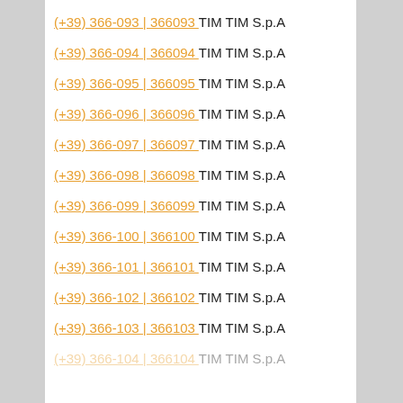(+39) 366-093 | 366093 TIM TIM S.p.A
(+39) 366-094 | 366094 TIM TIM S.p.A
(+39) 366-095 | 366095 TIM TIM S.p.A
(+39) 366-096 | 366096 TIM TIM S.p.A
(+39) 366-097 | 366097 TIM TIM S.p.A
(+39) 366-098 | 366098 TIM TIM S.p.A
(+39) 366-099 | 366099 TIM TIM S.p.A
(+39) 366-100 | 366100 TIM TIM S.p.A
(+39) 366-101 | 366101 TIM TIM S.p.A
(+39) 366-102 | 366102 TIM TIM S.p.A
(+39) 366-103 | 366103 TIM TIM S.p.A
(+39) 366-104 | 366104 TIM TIM S.p.A